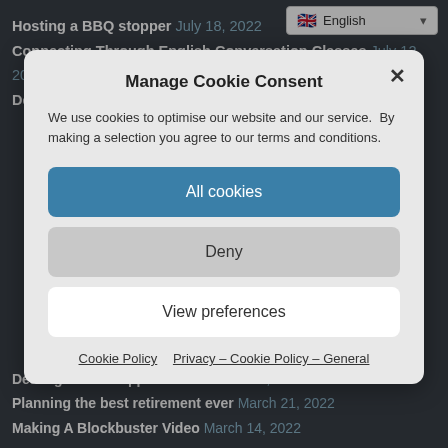Hosting a BBQ stopper July 18, 2022
Connecting Through English Conversation Classes July 12, 2022
Dealing with Disappointment July 5, 2022
Manage Cookie Consent
We use cookies to optimise our website and our service.  By making a selection you agree to our terms and conditions.
All cookies
Deny
View preferences
Cookie Policy   Privacy – Cookie Policy – General
Dealing with Disappointment March 28, 2022
Planning the best retirement ever March 21, 2022
Making A Blockbuster Video March 14, 2022